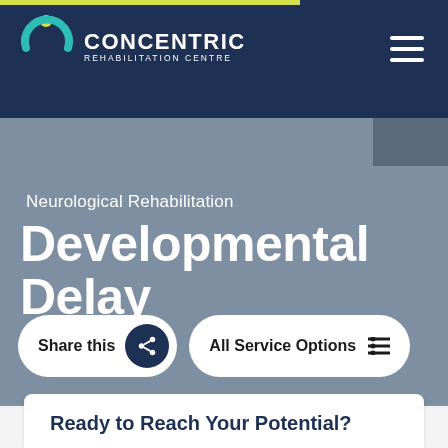[Figure (logo): Concentric Rehabilitation Centre logo with circular arc icon in yellow and teal, and text CONCENTRIC REHABILITATION CENTRE in white on navy background]
Neurological Rehabilitation
Developmental Delay
Share this | All Service Options
Ready to Reach Your Potential?